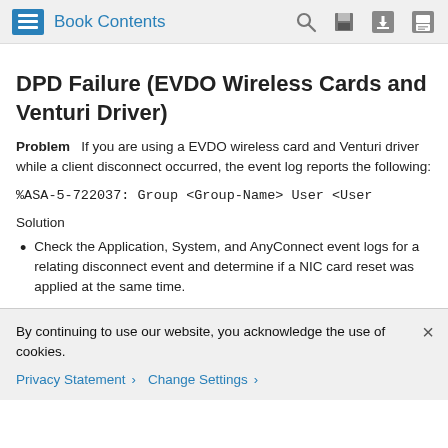Book Contents
DPD Failure (EVDO Wireless Cards and Venturi Driver)
Problem   If you are using a EVDO wireless card and Venturi driver while a client disconnect occurred, the event log reports the following:
Solution
Check the Application, System, and AnyConnect event logs for a relating disconnect event and determine if a NIC card reset was applied at the same time.
By continuing to use our website, you acknowledge the use of cookies.
Privacy Statement > Change Settings >